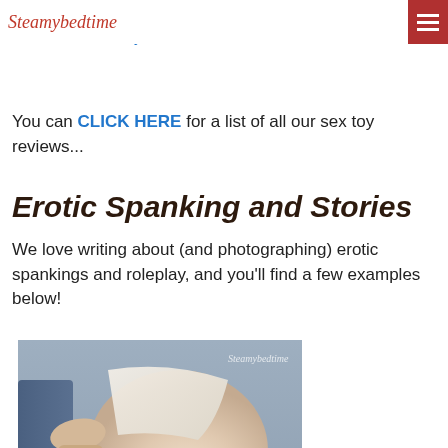Steamybedtime
Nine months on, a summary of favourite clitoral vibe – Desire Luxury Clitoral Vibrator Revisited
You can CLICK HERE for a list of all our sex toy reviews...
Erotic Spanking and Stories
We love writing about (and photographing) erotic spankings and roleplay, and you'll find a few examples below!
[Figure (photo): Erotic spanking photograph with Steamybedtime watermark]